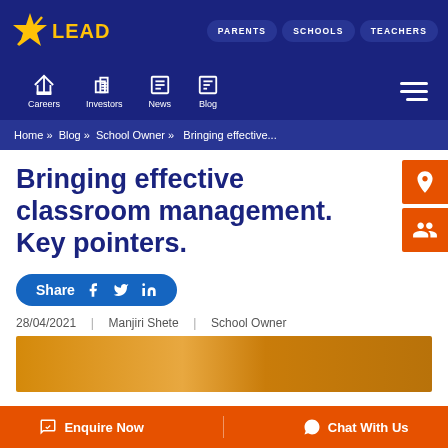[Figure (logo): LEAD logo with yellow star and yellow text on dark blue background]
PARENTS   SCHOOLS   TEACHERS
Careers   Investors   News   Blog
Home » Blog » School Owner » Bringing effective...
Bringing effective classroom management. Key pointers.
Share
28/04/2021  |  Manjiri Shete  |  School Owner
[Figure (photo): Classroom bulletin boards with orange and yellow decorations]
Enquire Now   Chat With Us